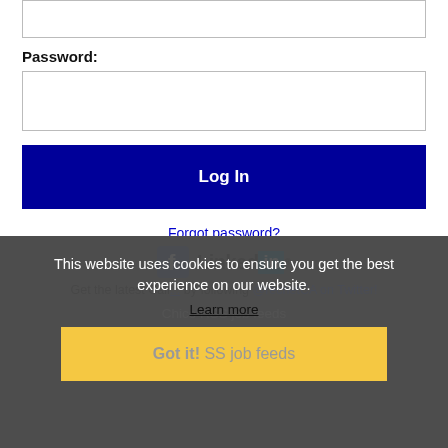[input field top]
Password:
[password input field]
Log In
Forgot password?
[Figure (logo): Facebook logo icon and LinkedIn logo side by side]
This website uses cookies to ensure you get the best experience on our website.
Learn more
Get the latest Cali... by following @recnetCA on Twitter!
Got it!
Chico RSS job feeds